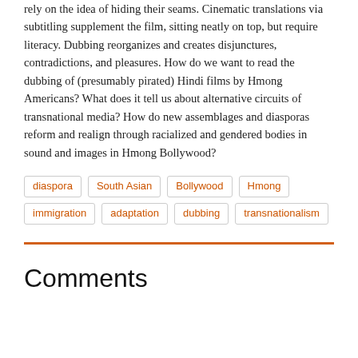rely on the idea of hiding their seams. Cinematic translations via subtitling supplement the film, sitting neatly on top, but require literacy. Dubbing reorganizes and creates disjunctures, contradictions, and pleasures. How do we want to read the dubbing of (presumably pirated) Hindi films by Hmong Americans? What does it tell us about alternative circuits of transnational media? How do new assemblages and diasporas reform and realign through racialized and gendered bodies in sound and images in Hmong Bollywood?
diaspora
South Asian
Bollywood
Hmong
immigration
adaptation
dubbing
transnationalism
Comments